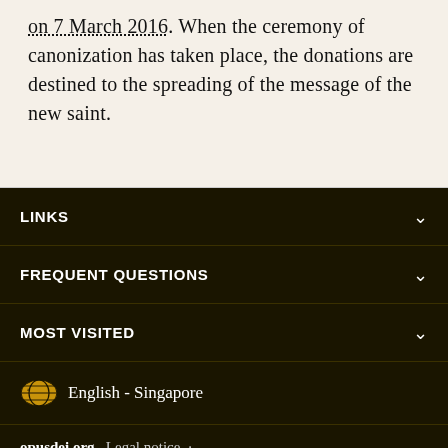on 7 March 2016. When the ceremony of canonization has taken place, the donations are destined to the spreading of the message of the new saint.
LINKS
FREQUENT QUESTIONS
MOST VISITED
English - Singapore
opusdei.org   Legal notice · Privacy policy and cookies · Copyright information · Contact · Archive